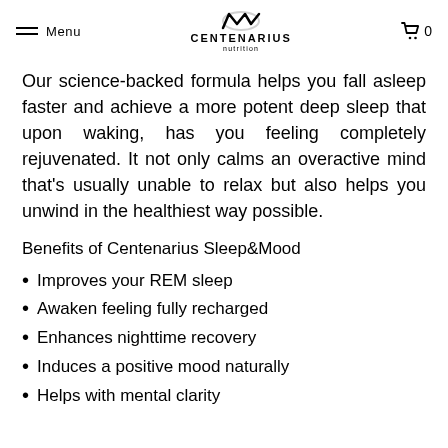Menu | CENTENARIUS nutrition | 0
Our science-backed formula helps you fall asleep faster and achieve a more potent deep sleep that upon waking, has you feeling completely rejuvenated. It not only calms an overactive mind that’s usually unable to relax but also helps you unwind in the healthiest way possible.
Benefits of Centenarius Sleep&Mood
Improves your REM sleep
Awaken feeling fully recharged
Enhances nighttime recovery
Induces a positive mood naturally
Helps with mental clarity